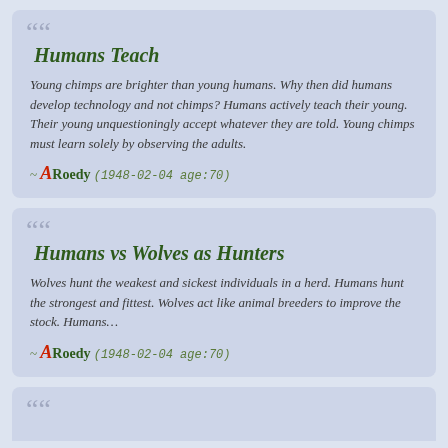Humans Teach
Young chimps are brighter than young humans. Why then did humans develop technology and not chimps? Humans actively teach their young. Their young unquestioningly accept whatever they are told. Young chimps must learn solely by observing the adults.
~ ARoedy (1948-02-04 age:70)
Humans vs Wolves as Hunters
Wolves hunt the weakest and sickest individuals in a herd. Humans hunt the strongest and fittest. Wolves act like animal breeders to improve the stock. Humans…
~ ARoedy (1948-02-04 age:70)